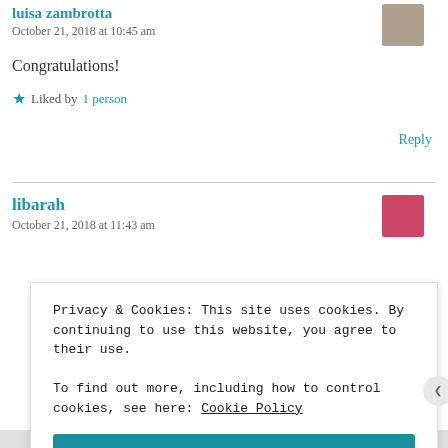luisa zambrotta
October 21, 2018 at 10:45 am
Congratulations!
★ Liked by 1 person
Reply
libarah
October 21, 2018 at 11:43 am
Privacy & Cookies: This site uses cookies. By continuing to use this website, you agree to their use.
To find out more, including how to control cookies, see here: Cookie Policy
Close and accept